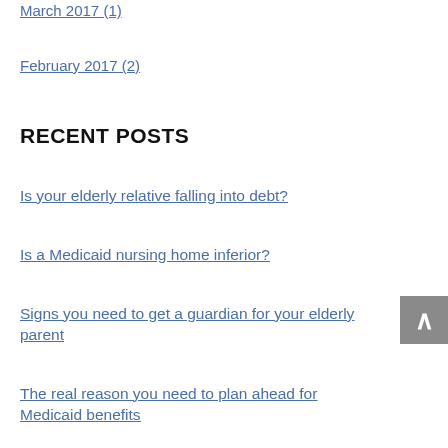March 2017 (1)
February 2017 (2)
RECENT POSTS
Is your elderly relative falling into debt?
Is a Medicaid nursing home inferior?
Signs you need to get a guardian for your elderly parent
The real reason you need to plan ahead for Medicaid benefits